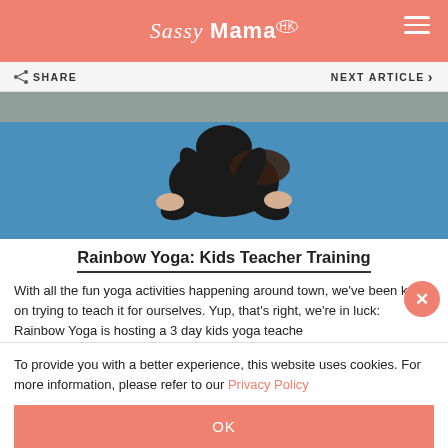Sassy Mama HK
SHARE   NEXT ARTICLE >
[Figure (photo): Person doing yoga on a blue mat, bending forward, viewed from above]
Rainbow Yoga: Kids Teacher Training
With all the fun yoga activities happening around town, we've been keen on trying to teach it for ourselves. Yup, that's right, we're in luck: Rainbow Yoga is hosting a 3 day kids yoga teache
To provide you with a better experience, this website uses cookies. For more information, please refer to our Privacy Policy
OK